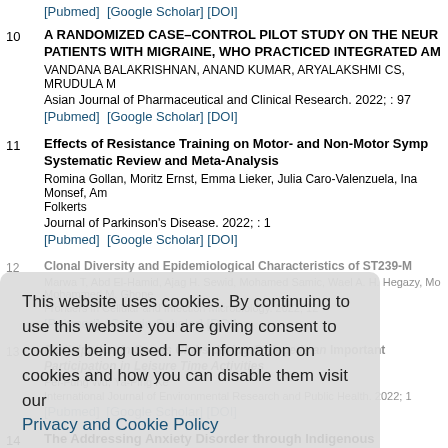[Pubmed]  [Google Scholar] [DOI]
10  A RANDOMIZED CASE–CONTROL PILOT STUDY ON THE NEUR... PATIENTS WITH MIGRAINE, WHO PRACTICED INTEGRATED AM... VANDANA BALAKRISHNAN, ANAND KUMAR, ARYALAKSHMI CS, MRUDULA M... Asian Journal of Pharmaceutical and Clinical Research. 2022; : 97
[Pubmed]  [Google Scholar] [DOI]
11  Effects of Resistance Training on Motor- and Non-Motor Symp... Systematic Review and Meta-Analysis
Romina Gollan, Moritz Ernst, Emma Lieker, Julia Caro-Valenzuela, Ina Monsef, Am... Folkerts
Journal of Parkinson's Disease. 2022; : 1
[Pubmed]  [Google Scholar] [DOI]
12  Clonal Diversity and Epidemiological Characteristics of ST239-M...
Marwa T, Abd El-Hamid, Ajag H. Sewid, Mohamed Samic, Wael A. H. Hegazy, Mo... Mohammed M. Ghone...
Frontiers in Cellular and Infection Microbiology. 2022; 12...
[Pubmed]  [Google Scholar] [DOI]
13  Participation in Sports Clubs during College Is an Important... Participation in Leisure Time Activities
Pei-Fung Wu, Ya-Ping Ke
International Journal of Environmental Research and Public Health. 2022; 1
[Pubmed]  [Google Scholar] [DOI]
14  The Addressing Anxiety Disorder through Indigenous Therapeuti...
This website uses cookies. By continuing to use this website you are giving consent to cookies being used. For information on cookies and how you can disable them visit our Privacy and Cookie Policy
AGREE & PROCEED